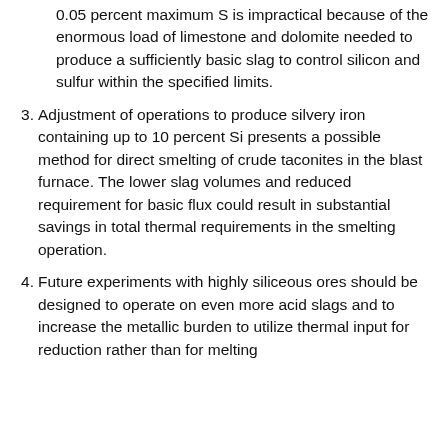0.05 percent maximum S is impractical because of the enormous load of limestone and dolomite needed to produce a sufficiently basic slag to control silicon and sulfur within the specified limits.
3. Adjustment of operations to produce silvery iron containing up to 10 percent Si presents a possible method for direct smelting of crude taconites in the blast furnace. The lower slag volumes and reduced requirement for basic flux could result in substantial savings in total thermal requirements in the smelting operation.
4. Future experiments with highly siliceous ores should be designed to operate on even more acid slags and to increase the metallic burden to utilize thermal input for reduction rather than for melting